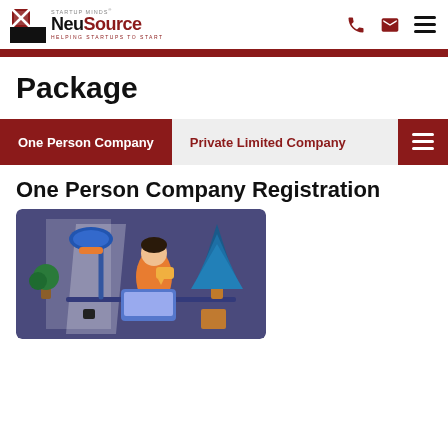NeuSource Startup Minds - Helping Startups to Start
Package
One Person Company | Private Limited Company
One Person Company Registration
[Figure (illustration): Illustration of a person working at a laptop with plants and a lamp in a purple office setting]